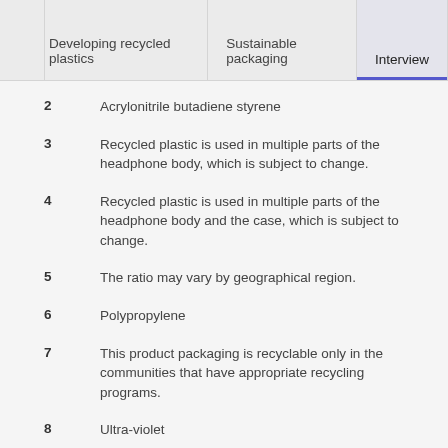Developing recycled plastics | Sustainable packaging | Interview
2   Acrylonitrile butadiene styrene
3   Recycled plastic is used in multiple parts of the headphone body, which is subject to change.
4   Recycled plastic is used in multiple parts of the headphone body and the case, which is subject to change.
5   The ratio may vary by geographical region.
6   Polypropylene
7   This product packaging is recyclable only in the communities that have appropriate recycling programs.
8   Ultra-violet
9   Prices indicated are subject to change without prior notice.